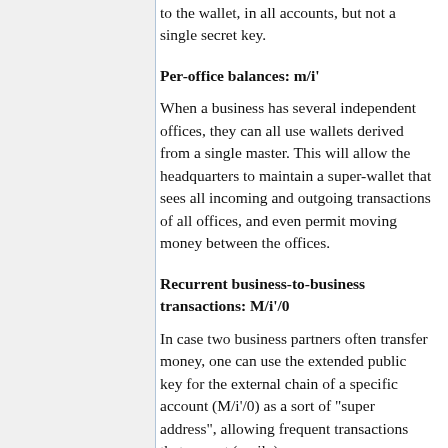to the wallet, in all accounts, but not a single secret key.
Per-office balances: m/i'
When a business has several independent offices, they can all use wallets derived from a single master. This will allow the headquarters to maintain a super-wallet that sees all incoming and outgoing transactions of all offices, and even permit moving money between the offices.
Recurrent business-to-business transactions: M/i'/0
In case two business partners often transfer money, one can use the extended public key for the external chain of a specific account (M/i'/0) as a sort of "super address", allowing frequent transactions that cannot (easily)